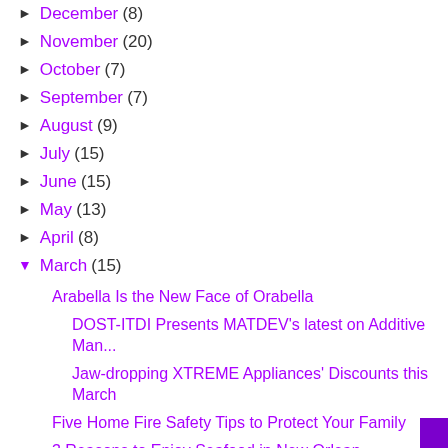► December (8)
► November (20)
► October (7)
► September (7)
► August (9)
► July (15)
► June (15)
► May (13)
► April (8)
▼ March (15)
Arabella Is the New Face of Orabella
DOST-ITDI Presents MATDEV's latest on Additive Man...
Jaw-dropping XTREME Appliances' Discounts this March
Five Home Fire Safety Tips to Protect Your Family
3 Reasons to Enjoy Seafood in New Orlean
Shopee Offers Bigger, Better Deals at 4.4 Mega...